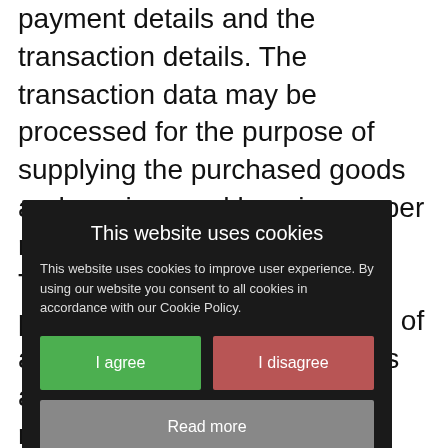payment details and the transaction details. The transaction data may be processed for the purpose of supplying the purchased goods and services and keeping proper records of those transactions. The legal basis for this processing is the performance of a contract between you and us and/or taking steps, at your request, to enter into such a contract and our legitimate interests, namely our interest in the p... nd business.
2... t you provide t... our email n... ification c... ocessed for t... ant n... egal basis for this processing is the performance of a contract
[Figure (screenshot): Cookie consent overlay dialog with dark background. Title: 'This website uses cookies'. Body text: 'This website uses cookies to improve user experience. By using our website you consent to all cookies in accordance with our Cookie Policy.' Three buttons: 'I agree' (green), 'I disagree' (red/rose), 'Read more' (grey).]